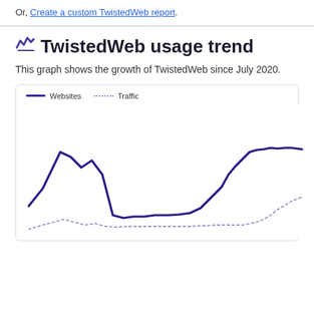Or, Create a custom TwistedWeb report.
TwistedWeb usage trend
This graph shows the growth of TwistedWeb since July 2020.
[Figure (line-chart): Line chart showing growth of TwistedWeb since July 2020. Websites line (solid dark purple) shows a peak early, then a dip, then recovery to high levels at the right. Traffic line (dotted light purple) stays low and flat, rising slightly at the far right.]